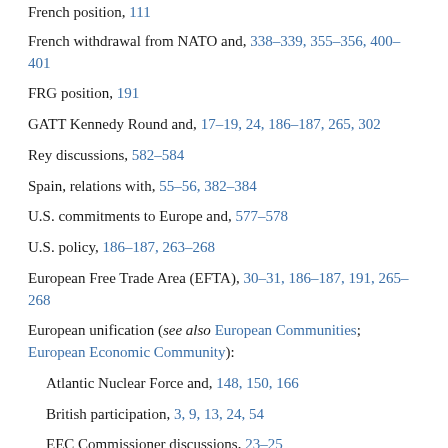French position, 111
French withdrawal from NATO and, 338–339, 355–356, 400–401
FRG position, 191
GATT Kennedy Round and, 17–19, 24, 186–187, 265, 302
Rey discussions, 582–584
Spain, relations with, 55–56, 382–384
U.S. commitments to Europe and, 577–578
U.S. policy, 186–187, 263–268
European Free Trade Area (EFTA), 30–31, 186–187, 191, 265–268
European unification (see also European Communities; European Economic Community):
Atlantic Nuclear Force and, 148, 150, 166
British participation, 3, 9, 13, 24, 54
EEC Commissioner discussions, 23–25
EEC crisis and, 225–226
Erhard Plan, 185–186
Fouchet proposal, 9